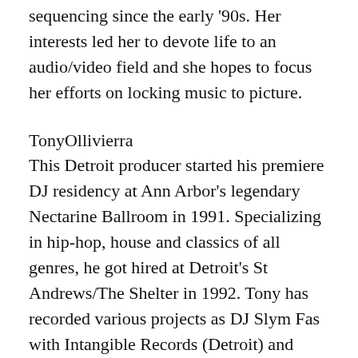sequencing since the early '90s. Her interests led her to devote life to an audio/video field and she hopes to focus her efforts on locking music to picture.
TonyOllivierra
This Detroit producer started his premiere DJ residency at Ann Arbor's legendary Nectarine Ballroom in 1991. Specializing in hip-hop, house and classics of all genres, he got hired at Detroit's St Andrews/The Shelter in 1992. Tony has recorded various projects as DJ Slym Fas with Intangible Records (Detroit) and Studio K-7 (Berlin). He now prepares his unique brand of dance music and hip-hop for release on his own Dynamite Soul imprint.